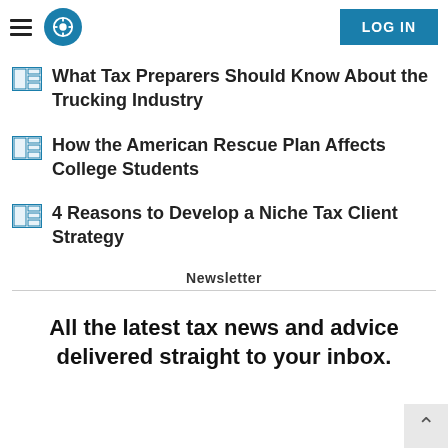LOG IN
What Tax Preparers Should Know About the Trucking Industry
How the American Rescue Plan Affects College Students
4 Reasons to Develop a Niche Tax Client Strategy
Newsletter
All the latest tax news and advice delivered straight to your inbox.